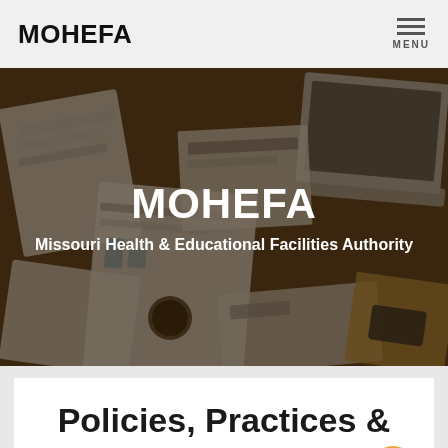MOHEFA
[Figure (photo): Dark overhead photo of business documents, notebooks, laptop, newspaper, and coffee cup on a wooden desk, overlaid with dark semi-transparent overlay. Center text reads MOHEFA and Missouri Health & Educational Facilities Authority.]
Policies, Practices & Applications